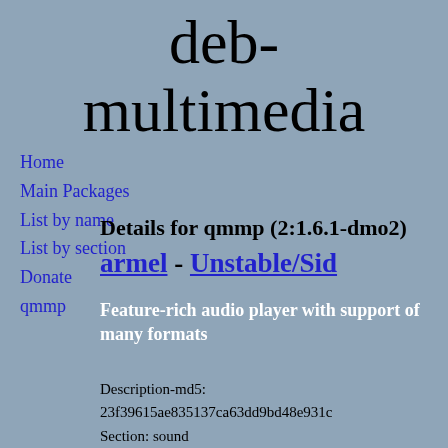deb-multimedia
Home
Main Packages
List by name
List by section
Donate
qmmp
Details for qmmp (2:1.6.1-dmo2)
armel - Unstable/Sid
Feature-rich audio player with support of many formats
Description-md5: 23f39615ae835137ca63dd9bd48e931c
Section: sound
Priority: optional
Filename: pool/main/q/qmmp-dmo/qmmp_1.6.1-